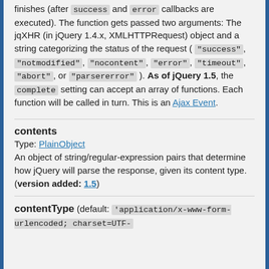finishes (after success and error callbacks are executed). The function gets passed two arguments: The jqXHR (in jQuery 1.4.x, XMLHTTPRequest) object and a string categorizing the status of the request ( "success", "notmodified", "nocontent", "error", "timeout", "abort", or "parsererror" ). As of jQuery 1.5, the complete setting can accept an array of functions. Each function will be called in turn. This is an Ajax Event.
contents
Type: PlainObject
An object of string/regular-expression pairs that determine how jQuery will parse the response, given its content type. (version added: 1.5)
contentType
(default: 'application/x-www-form-urlencoded; charset=UTF-